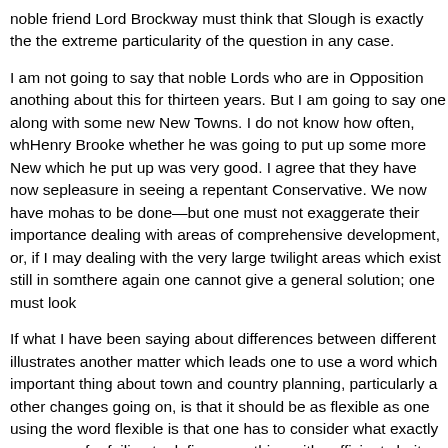noble friend Lord Brockway must think that Slough is exactly the extreme particularity of the question in any case.
I am not going to say that noble Lords who are in Opposition a nothing about this for thirteen years. But I am going to say one along with some new New Towns. I do not know how often, wh Henry Brooke whether he was going to put up some more New which he put up was very good. I agree that they have now se pleasure in seeing a repentant Conservative. We now have mo has to be done—but one must not exaggerate their importance dealing with areas of comprehensive development, or, if I may dealing with the very large twilight areas which exist still in som there again one cannot give a general solution; one must look
If what I have been saying about differences between different illustrates another matter which leads one to use a word which important thing about town and country planning, particularly a other changes going on, is that it should be as flexible as one using the word flexible is that one has to consider what exactly an excuse for failing to define something with sufficient clarity, inevitable.